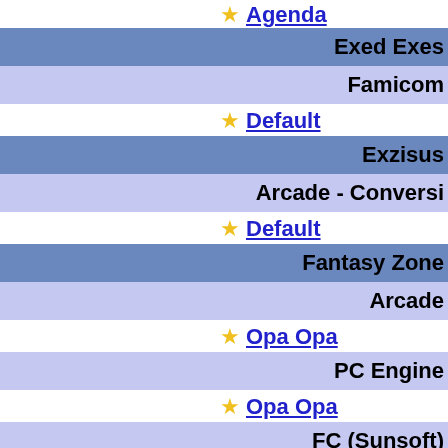★ Agenda
Exed Exes
Famicom
★ Default
Exzisus
Arcade - Conversi...
★ Default
Fantasy Zone
Arcade
★ Opa Opa
PC Engine
★ Opa Opa
FC (Sunsoft)
★ Opa Opa
Master System
★ Opa Opa
Fantasy Zone 2: The Tears
Mark III
★ Opa Opa
Final Blaster
Normal